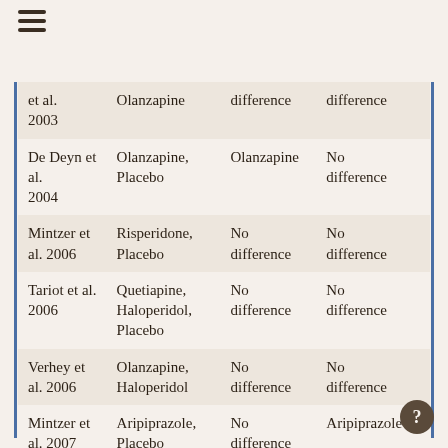≡
| et al. 2003 | Olanzapine | difference | difference |
| De Deyn et al. 2004 | Olanzapine, Placebo | Olanzapine | No difference |
| Mintzer et al. 2006 | Risperidone, Placebo | No difference | No difference |
| Tariot et al. 2006 | Quetiapine, Haloperidol, Placebo | No difference | No difference |
| Verhey et al. 2006 | Olanzapine, Haloperidol | No difference | No difference |
| Mintzer et al. 2007 | Aripiprazole, Placebo | No difference | Aripiprazole |
| Zhong et al. 2007 | Quetiapine, Placebo | No difference | No difference |
| Streim et | Aripiprazole, | Aripiprazole | Aripiprazole |